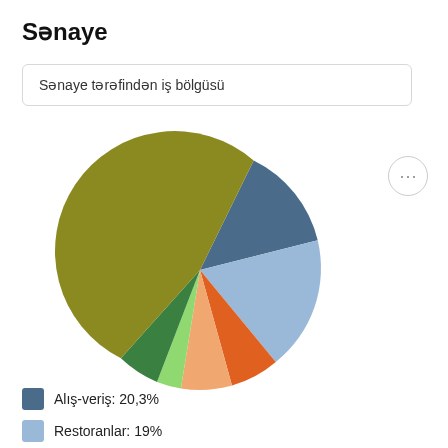Sənaye
Sənaye tərəfindən iş bölgüsü
[Figure (pie-chart): Sənaye tərəfindən iş bölgüsü]
Alış-veriş: 20,3%
Restoranlar: 19%